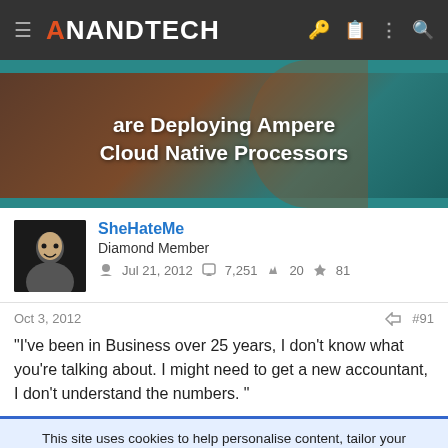AnandTech
[Figure (screenshot): Banner image with text 'are Deploying Ampere Cloud Native Processors' on a teal/brown background]
SheHateMe
Diamond Member
Jul 21, 2012  7,251  20  81
Oct 3, 2012  #91
"I've been in Business over 25 years, I don't know what you're talking about. I might need to get a new accountant, I don't understand the numbers. "
This site uses cookies to help personalise content, tailor your experience and to keep you logged in if you register.
By continuing to use this site, you are consenting to our use of cookies.
Ashburn  OPEN  8AM–10PM